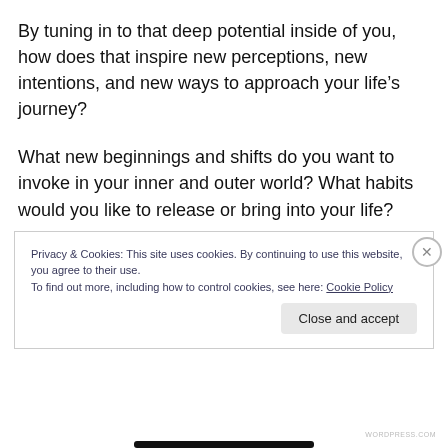By tuning in to that deep potential inside of you, how does that inspire new perceptions, new intentions, and new ways to approach your life's journey?
What new beginnings and shifts do you want to invoke in your inner and outer world? What habits would you like to release or bring into your life?
Privacy & Cookies: This site uses cookies. By continuing to use this website, you agree to their use.
To find out more, including how to control cookies, see here: Cookie Policy